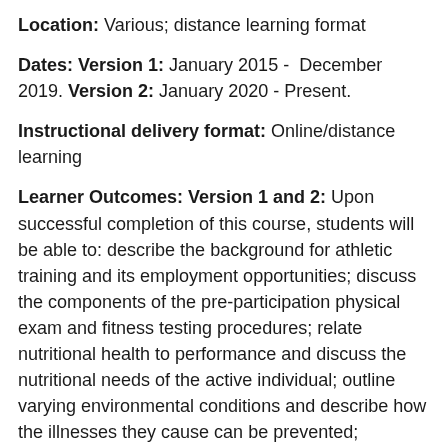Location: Various; distance learning format
Dates: Version 1: January 2015 - December 2019. Version 2: January 2020 - Present.
Instructional delivery format: Online/distance learning
Learner Outcomes: Version 1 and 2: Upon successful completion of this course, students will be able to: describe the background for athletic training and its employment opportunities; discuss the components of the pre-participation physical exam and fitness testing procedures; relate nutritional health to performance and discuss the nutritional needs of the active individual; outline varying environmental conditions and describe how the illnesses they cause can be prevented; illustrate different forms of injury prevention and the liabilities inherent in sports training; describe how preexisting